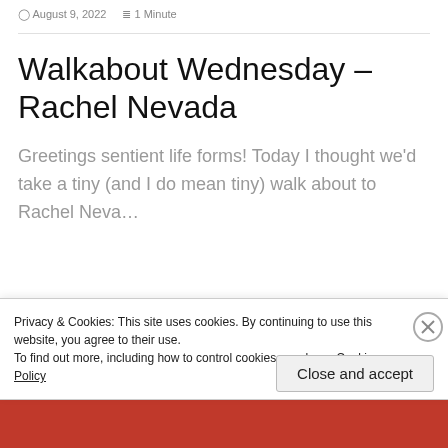August 9, 2022   1 Minute
Walkabout Wednesday – Rachel Nevada
Greetings sentient life forms! Today I thought we'd take a tiny (and I do mean tiny) walk about to Rachel Nevada, where in
Privacy & Cookies: This site uses cookies. By continuing to use this website, you agree to their use.
To find out more, including how to control cookies, see here: Cookie Policy
Close and accept